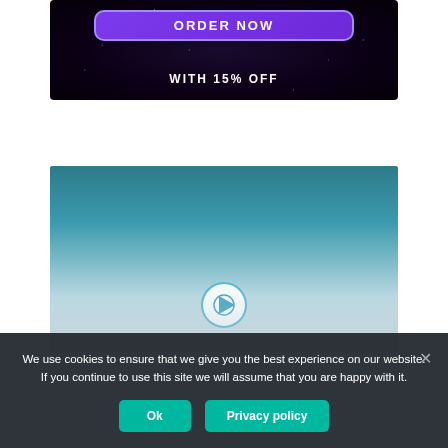[Figure (screenshot): Dark space-themed banner with purple 'ORDER NOW' button and white text 'WITH 15% OFF']
[Figure (photo): Teal/blue sky photograph with a circular play/media icon at the bottom center]
We use cookies to ensure that we give you the best experience on our website. If you continue to use this site we will assume that you are happy with it.